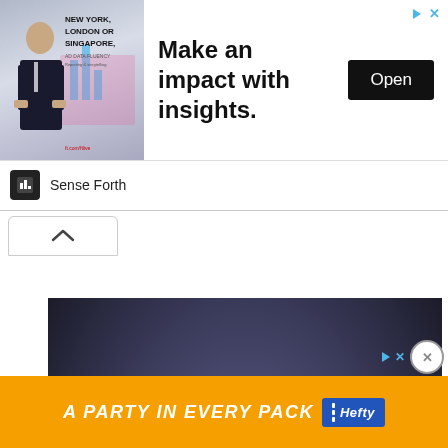[Figure (other): Top advertisement banner: image of a man in suit with text 'NEW YORK, LONDON OR SINGAPORE,' alongside bold text 'Make an impact with insights.' and an 'Open' button. Source: Sense Forth.]
[Figure (photo): Orange sports car (supercar) photographed from a slightly elevated front-three-quarter angle against a dark purple/grey studio background.]
[Figure (other): Bottom advertisement banner with orange background showing text 'A PARTY in EVERY PACK' and Hefty logo in blue.]